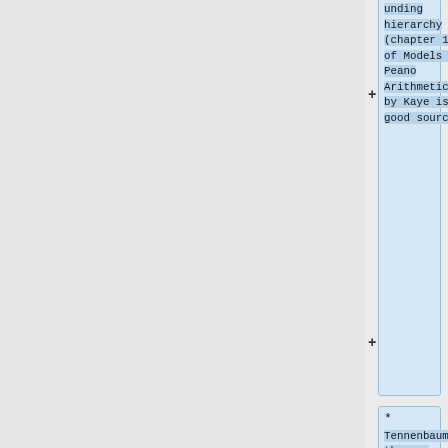unding hierarchy (chapter 10 of Models of Peano Arithmetic by Kaye is a good source)
* Tennenbaum's theorem (this is a quick consequence of the main theorem of part 4, so it should be combined with part 4 or part 5)